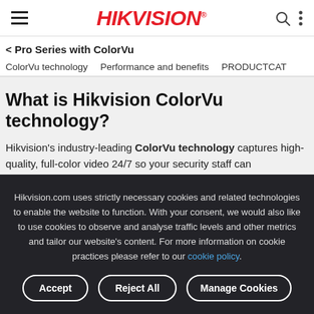HIKVISION
< Pro Series with ColorVu
ColorVu technology    Performance and benefits    PRODUCTCAT
What is Hikvision ColorVu technology?
Hikvision's industry-leading ColorVu technology captures high-quality, full-color video 24/7 so your security staff can
Hikvision.com uses strictly necessary cookies and related technologies to enable the website to function. With your consent, we would also like to use cookies to observe and analyse traffic levels and other metrics and tailor our website's content. For more information on cookie practices please refer to our cookie policy.
Accept    Reject All    Manage Cookies